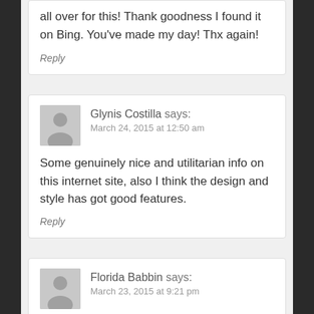all over for this! Thank goodness I found it on Bing. You've made my day! Thx again!
Reply
Glynis Costilla says:
March 24, 2015 at 12:50 am
Some genuinely nice and utilitarian info on this internet site, also I think the design and style has got good features.
Reply
Florida Babbin says:
March 23, 2015 at 9:21 pm
I believe this website contains some real good info for everyone. "To be able to be caught up into the world of thought — that is being educated."